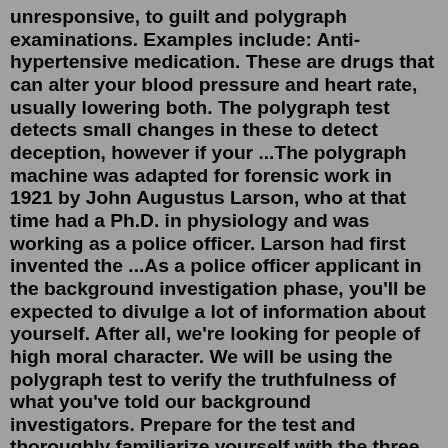unresponsive, to guilt and polygraph examinations. Examples include: Anti-hypertensive medication. These are drugs that can alter your blood pressure and heart rate, usually lowering both. The polygraph test detects small changes in these to detect deception, however if your ...The polygraph machine was adapted for forensic work in 1921 by John Augustus Larson, who at that time had a Ph.D. in physiology and was working as a police officer. Larson had first invented the ...As a police officer applicant in the background investigation phase, you'll be expected to divulge a lot of information about yourself. After all, we're looking for people of high moral character. We will be using the polygraph test to verify the truthfulness of what you've told our background investigators. Prepare for the test and thoroughly familiarize yourself with the three types of Polygraph questions (irrelevant, relevant, control/comparison) and be able to identify them. During the "pre-test" interview all questions will be read to you. Use this time to categorize each question in your mind. The...